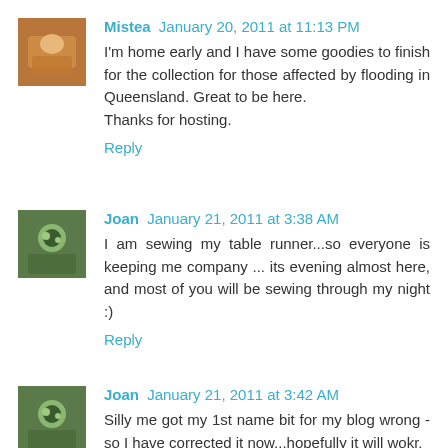Mistea  January 20, 2011 at 11:13 PM
I'm home early and I have some goodies to finish for the collection for those affected by flooding in Queensland. Great to be here.
Thanks for hosting.
Reply
Joan  January 21, 2011 at 3:38 AM
I am sewing my table runner...so everyone is keeping me company ... its evening almost here, and most of you will be sewing through my night :)
Reply
Joan  January 21, 2011 at 3:42 AM
Silly me got my 1st name bit for my blog wrong - so I have corrected it now...hopefully it will wokr,
Reply